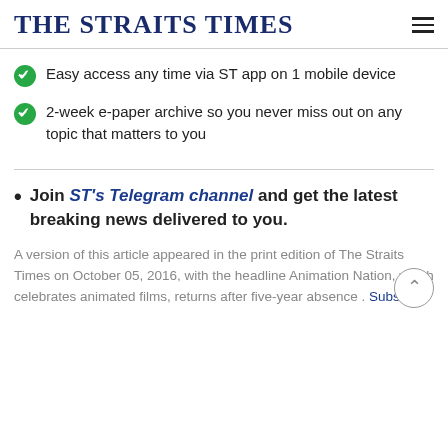THE STRAITS TIMES
Easy access any time via ST app on 1 mobile device
2-week e-paper archive so you never miss out on any topic that matters to you
Join ST's Telegram channel and get the latest breaking news delivered to you.
A version of this article appeared in the print edition of The Straits Times on October 05, 2016, with the headline Animation Nation, which celebrates animated films, returns after five-year absence . Subscribe